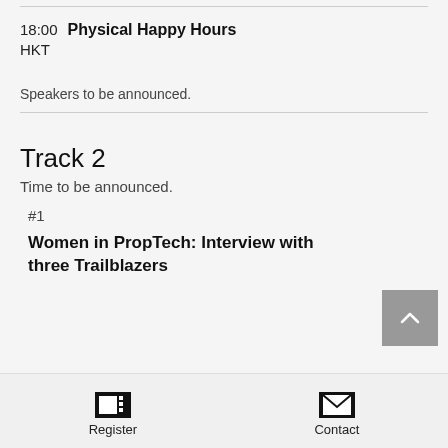JLL
18:00 Physical Happy Hours
HKT
Speakers to be announced.
Track 2
Time to be announced.
#1
Women in PropTech: Interview with three Trailblazers
Register   Contact